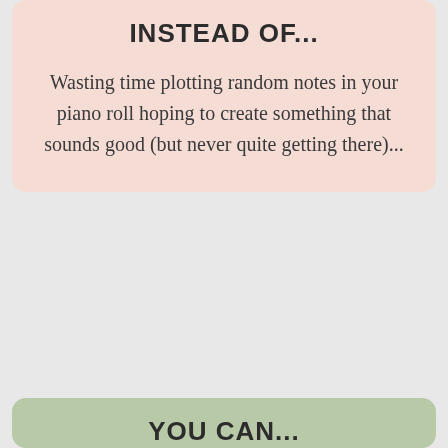INSTEAD OF...
Wasting time plotting random notes in your piano roll hoping to create something that sounds good (but never quite getting there)...
YOU CAN...
Enter your DAW with confidence knowing exactly how to create the chord progressions and melodies that you desire (and save hours of time in the process...)